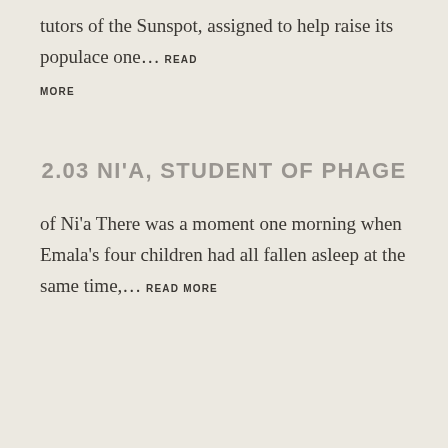tutors of the Sunspot, assigned to help raise its populace one… READ MORE
2.03 NI'A, STUDENT OF PHAGE
of Ni'a There was a moment one morning when Emala's four children had all fallen asleep at the same time,… READ MORE